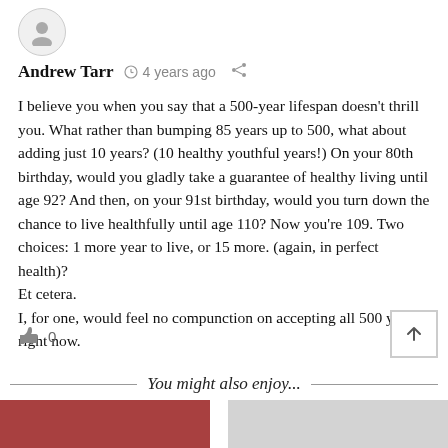[Figure (illustration): User avatar placeholder circle with person silhouette icon]
Andrew Tarr  ⏱ 4 years ago  🔗
I believe you when you say that a 500-year lifespan doesn't thrill you. What rather than bumping 85 years up to 500, what about adding just 10 years? (10 healthy youthful years!) On your 80th birthday, would you gladly take a guarantee of healthy living until age 92? And then, on your 91st birthday, would you turn down the chance to live healthfully until age 110? Now you're 109. Two choices: 1 more year to live, or 15 more. (again, in perfect health)?
Et cetera.
I, for one, would feel no compunction on accepting all 500 years right now.
0
You might also enjoy...
[Figure (photo): Thumbnail image bottom left]
[Figure (photo): Thumbnail image bottom right]